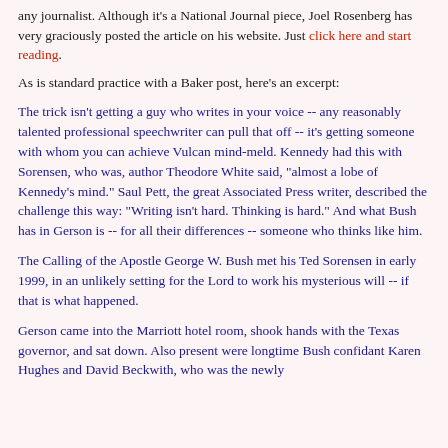any journalist. Although it's a National Journal piece, Joel Rosenberg has very graciously posted the article on his website. Just click here and start reading.
As is standard practice with a Baker post, here's an excerpt:
The trick isn't getting a guy who writes in your voice -- any reasonably talented professional speechwriter can pull that off -- it's getting someone with whom you can achieve Vulcan mind-meld. Kennedy had this with Sorensen, who was, author Theodore White said, "almost a lobe of Kennedy's mind." Saul Pett, the great Associated Press writer, described the challenge this way: "Writing isn't hard. Thinking is hard." And what Bush has in Gerson is -- for all their differences -- someone who thinks like him.
The Calling of the Apostle George W. Bush met his Ted Sorensen in early 1999, in an unlikely setting for the Lord to work his mysterious will -- if that is what happened.
Gerson came into the Marriott hotel room, shook hands with the Texas governor, and sat down. Also present were longtime Bush confidant Karen Hughes and David Beckwith, who was the newly